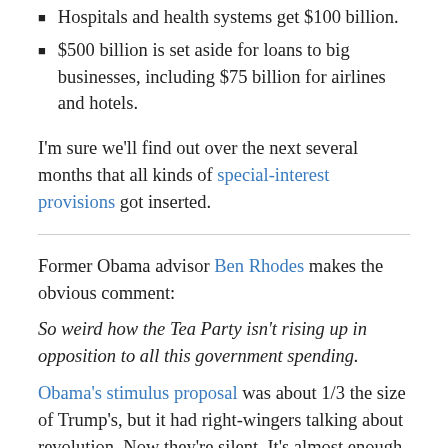Hospitals and health systems get $100 billion.
$500 billion is set aside for loans to big businesses, including $75 billion for airlines and hotels.
I'm sure we'll find out over the next several months that all kinds of special-interest provisions got inserted.
Former Obama advisor Ben Rhodes makes the obvious comment:
So weird how the Tea Party isn't rising up in opposition to all this government spending.
Obama's stimulus proposal was about 1/3 the size of Trump's, but it had right-wingers talking about revolution. Now they're silent. It's almost enough to make you think they had some other reason for not liking Obama.